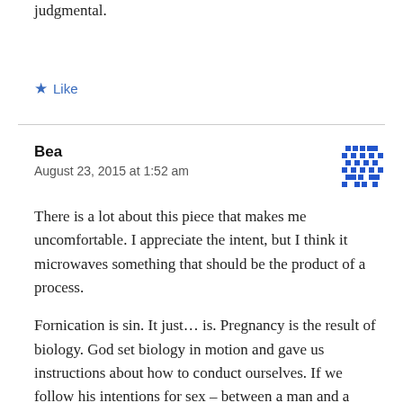…how you felt. Those things went down is very, very judgmental.
★ Like
Bea
August 23, 2015 at 1:52 am
There is a lot about this piece that makes me uncomfortable. I appreciate the intent, but I think it microwaves something that should be the product of a process.
Fornication is sin. It just… is. Pregnancy is the result of biology. God set biology in motion and gave us instructions about how to conduct ourselves. If we follow his intentions for sex – between a man and a woman who exist in a covenantal marriage together